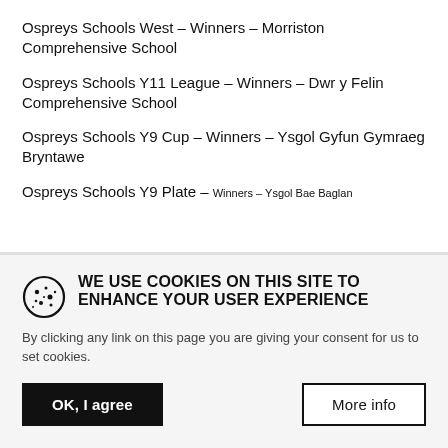Ospreys Schools West – Winners – Morriston Comprehensive School
Ospreys Schools Y11 League – Winners – Dwr y Felin Comprehensive School
Ospreys Schools Y9 Cup – Winners – Ysgol Gyfun Gymraeg Bryntawe
Ospreys Schools Y9 Plate – Winners – Ysgol Bae Baglan
[Figure (other): Cookie consent icon — a circle with a cookie and dots illustration]
WE USE COOKIES ON THIS SITE TO ENHANCE YOUR USER EXPERIENCE
By clicking any link on this page you are giving your consent for us to set cookies.
OK, I agree
More info